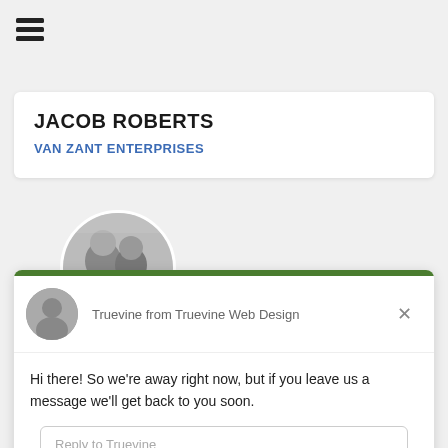[Figure (other): Hamburger menu icon (three horizontal lines)]
JACOB ROBERTS
VAN ZANT ENTERPRISES
[Figure (photo): Circular profile photo of two people (man and woman) in black and white]
[Figure (photo): Circular profile photo of a man (chat agent avatar)]
Truevine from Truevine Web Design
Hi there! So we're away right now, but if you leave us a message we'll get back to you soon.
Reply to Truevine
Chat ⚡ by Drift